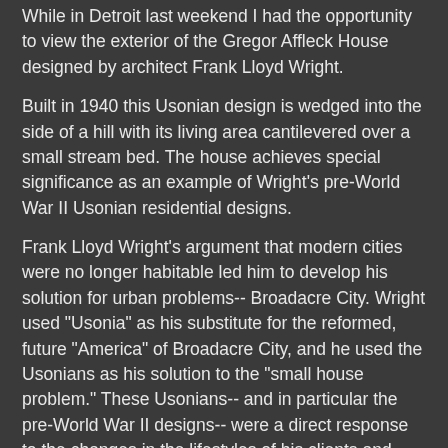While in Detroit last weekend I had the opportunity to view the exterior of the Gregor Affleck House designed by architect Frank Lloyd Wright.
Built in 1940 this Usonian design is wedged into the side of a hill with its living area cantilevered over a small stream bed. The house achieves special significance as an example of Wright's pre-World War II Usonian residential designs.
Frank Lloyd Wright's argument that modern cities were no longer habitable led him to develop his solution for urban problems-- Broadacre City. Wright used "Usonia" as his substitute for the reformed, future "America" of Broadacre City, and he used the Usonians as his solution to the "small house problem." These Usonians-- and in particular the pre-World War II designs-- were a direct response to the changes in the lifestyles of his clients and their needs for a low-cost but satisfying dwelling.
The Affleck House was listed on the National Register on October 3, 1985
For the ...